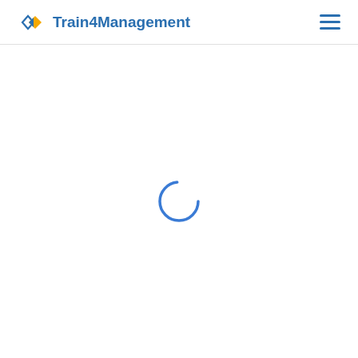Train4Management
[Figure (other): Loading spinner — a partial circle arc in blue, indicating page content is loading]